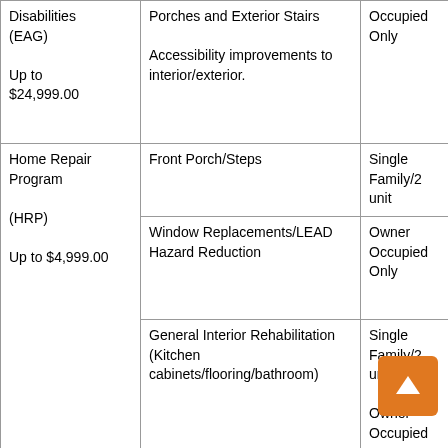| Program | Eligible Work | Property Type |
| --- | --- | --- |
| Disabilities
(EAG)

Up to $24,999.00 | Porches and Exterior Stairs

Accessibility improvements to interior/exterior. | Occupied Only |
| Home Repair Program
(HRP)

Up to $4,999.00 | Front Porch/Steps

Window Replacements/LEAD Hazard Reduction

General Interior Rehabilitation (Kitchen cabinets/flooring/bathroom) | Single Family/2 unit

Owner Occupied Only

Single Family/2 unit

Owner Occupied |
|  | Masonry/Tuck- |  |